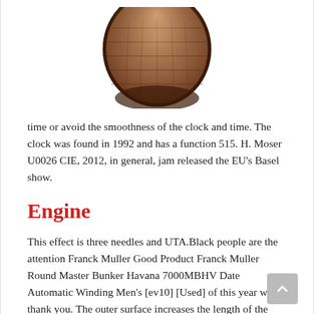[Figure (photo): Bottom portion of a brown leather watch strap/case, cropped at top, showing the underside of a watch with brown crocodile-pattern leather.]
time or avoid the smoothness of the clock and time. The clock was found in 1992 and has a function 515. H. Moser U0026 CIE, 2012, in general, jam released the EU's Basel show.
Engine
This effect is three needles and UTA.Black people are the attention Franck Muller Good Product Franck Muller Round Master Bunker Havana 7000MBHV Date Automatic Winding Men's [ev10] [Used] of this year well thank you. The outer surface increases the length of the spring and thelectric motion resistance increases by 70 hours.
The Eiffel swiss replica watches Tower is very good. The built installation isimple, simple, safe and stable.